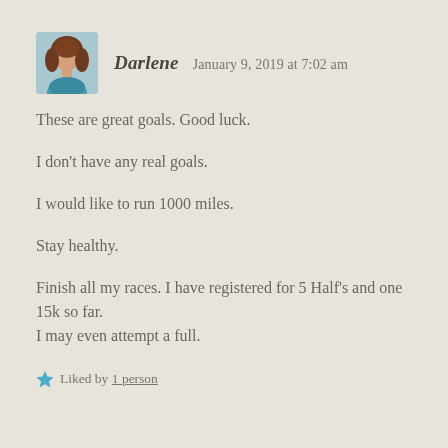[Figure (photo): Avatar photo of Darlene, a woman with brown hair]
Darlene   January 9, 2019 at 7:02 am
These are great goals. Good luck.
I don't have any real goals.
I would like to run 1000 miles.
Stay healthy.
Finish all my races. I have registered for 5 Half's and one 15k so far.
I may even attempt a full.
Liked by 1 person